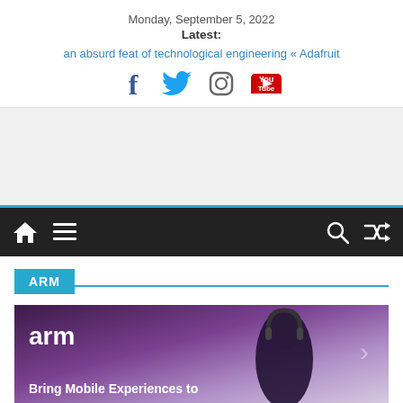Monday, September 5, 2022
Latest:
an absurd feat of technological engineering « Adafruit
[Figure (other): Social media icons: Facebook, Twitter, Instagram, YouTube]
[Figure (other): Navigation bar with home icon, hamburger menu, search icon, shuffle icon on dark background with cyan top border]
ARM
[Figure (photo): ARM advertisement image showing ARM logo and text 'Bring Mobile Experiences to' with a person wearing headphones on a purple gradient background]